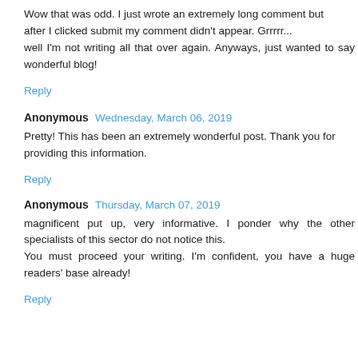Wow that was odd. I just wrote an extremely long comment but
after I clicked submit my comment didn't appear. Grrrrr...
well I'm not writing all that over again. Anyways, just wanted to say wonderful blog!
Reply
Anonymous  Wednesday, March 06, 2019
Pretty! This has been an extremely wonderful post. Thank you for providing this information.
Reply
Anonymous  Thursday, March 07, 2019
magnificent put up, very informative. I ponder why the other specialists of this sector do not notice this.
You must proceed your writing. I'm confident, you have a huge readers' base already!
Reply